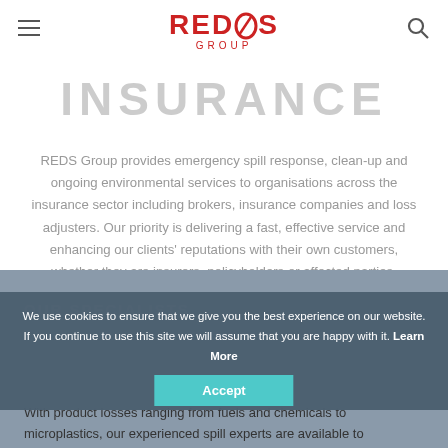REDS GROUP
INSURANCE
REDS Group provides emergency spill response, clean-up and ongoing environmental services to organisations across the insurance sector including brokers, insurance companies and loss adjusters. Our priority is delivering a fast, effective service and enhancing our clients' reputations with their own customers, whether they are insurers, policyholders or affected parties.
OUR SPECIALISTS
We use cookies to ensure that we give you the best experience on our website. If you continue to use this site we will assume that you are happy with it. Learn More
Accept
With product losses ranging from fuels and chemicals to microplastics, our experienced spill experts are available to